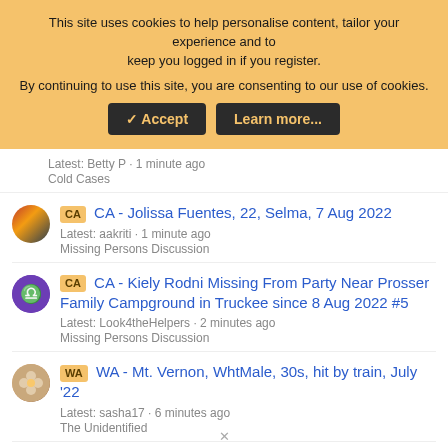[Figure (screenshot): Cookie consent banner with orange/amber background. Text: 'This site uses cookies to help personalise content, tailor your experience and to keep you logged in if you register. By continuing to use this site, you are consenting to our use of cookies.' Two dark buttons: Accept and Learn more...]
Latest: Betty P · 1 minute ago
Cold Cases
CA - Jolissa Fuentes, 22, Selma, 7 Aug 2022 | Latest: aakriti · 1 minute ago | Missing Persons Discussion
CA - Kiely Rodni Missing From Party Near Prosser Family Campground in Truckee since 8 Aug 2022 #5 | Latest: Look4theHelpers · 2 minutes ago | Missing Persons Discussion
WA - Mt. Vernon, WhtMale, 30s, hit by train, July '22 | Latest: sasha17 · 6 minutes ago | The Unidentified